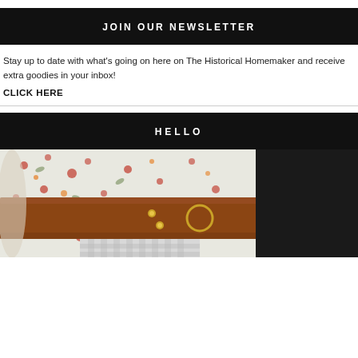JOIN OUR NEWSLETTER
Stay up to date with what's going on here on The Historical Homemaker and receive extra goodies in your inbox!
CLICK HERE
HELLO
[Figure (photo): Person wearing a floral blouse and a wide brown leather belt with gold buckle details, gingham fabric visible at bottom]